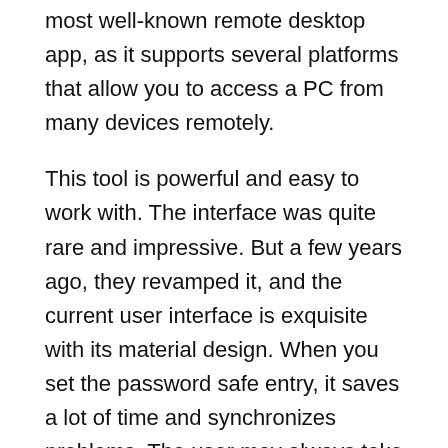most well-known remote desktop app, as it supports several platforms that allow you to access a PC from many devices remotely.
This tool is powerful and easy to work with. The interface was quite rare and impressive. But a few years ago, they revamped it, and the current user interface is exquisite with its material design. When you set the password safe entry, it saves a lot of time and synchronizes problems. The user may always take over the remote desktop instead of waiting for another person at the other end to authorize the connection. The choice for file sharing is also perfect. Skype, Dropbox, and remote Google access are all fusioned into one. Naturally, they're all the best they're doing, but it does some of the same things and